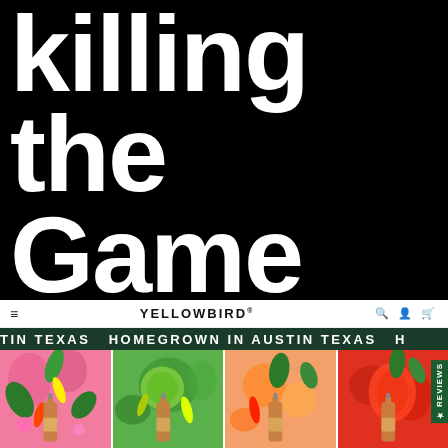killing the Game
[Figure (screenshot): Yellowbird hot sauce website screenshot showing navigation bar with hamburger menu, YELLOWBIRD logo, and icons; a dark green ticker bar reading HOMEGROWN IN AUSTIN TEXAS; and four product panels with colorful illustrated backgrounds and sauce bottles]
YELLOWBIRD®
HOMEGROWN IN AUSTIN TEXAS